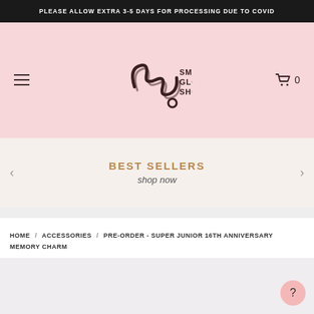PLEASE ALLOW EXTRA 3-5 DAYS FOR PROCESSING DUE TO COVID
[Figure (logo): SM Global Shop logo with stylized cursive S and M letters and a small circle, with text SM GLOBAL SHOP to the right]
BEST SELLERS
shop now
HOME / ACCESSORIES / PRE-ORDER - SUPER JUNIOR 16TH ANNIVERSARY MEMORY CHARM
[Figure (photo): Product image area (light gray/mauve background, partially visible at bottom of page)]